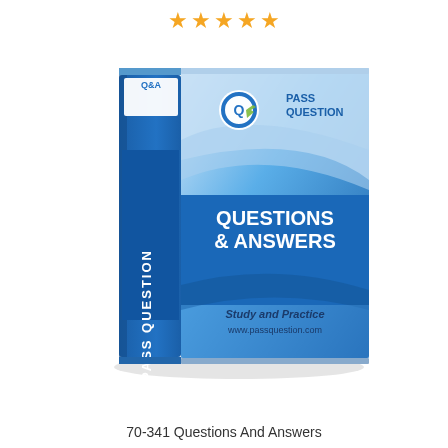[Figure (illustration): Five orange/gold star rating icons in a row at the top of the page]
[Figure (illustration): PassQuestion Q&A study guide book with blue cover showing 'QUESTIONS & ANSWERS', 'Study and Practice', 'www.passquestion.com', and 'PASS QUESTION' on the spine with 'Q&A' label]
70-341 Questions And Answers